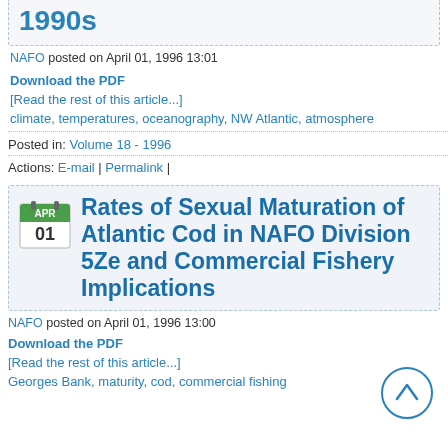1990s
NAFO posted on April 01, 1996 13:01
Download the PDF
[Read the rest of this article...]
climate, temperatures, oceanography, NW Atlantic, atmosphere
Posted in: Volume 18 - 1996
Actions: E-mail | Permalink |
Rates of Sexual Maturation of Atlantic Cod in NAFO Division 5Ze and Commercial Fishery Implications
NAFO posted on April 01, 1996 13:00
Download the PDF
[Read the rest of this article...]
Georges Bank, maturity, cod, commercial fishing